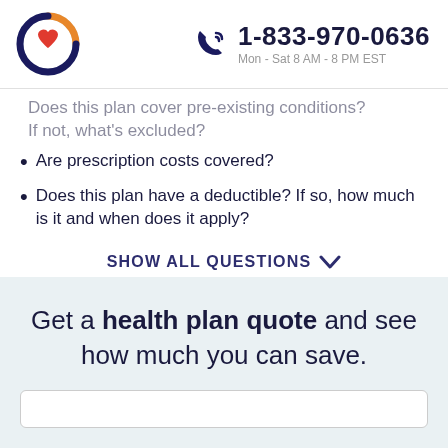1-833-970-0636 Mon - Sat 8 AM - 8 PM EST
Does this plan cover pre-existing conditions? If not, what's excluded?
Are prescription costs covered?
Does this plan have a deductible? If so, how much is it and when does it apply?
SHOW ALL QUESTIONS
Get a health plan quote and see how much you can save.